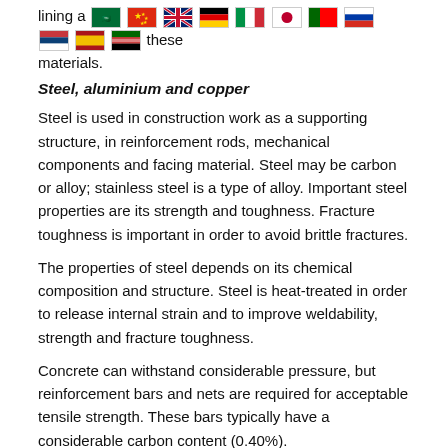lining an [flags] these materials.
Steel, aluminium and copper
Steel is used in construction work as a supporting structure, in reinforcement rods, mechanical components and facing material. Steel may be carbon or alloy; stainless steel is a type of alloy. Important steel properties are its strength and toughness. Fracture toughness is important in order to avoid brittle fractures.
The properties of steel depends on its chemical composition and structure. Steel is heat-treated in order to release internal strain and to improve weldability, strength and fracture toughness.
Concrete can withstand considerable pressure, but reinforcement bars and nets are required for acceptable tensile strength. These bars typically have a considerable carbon content (0.40%).